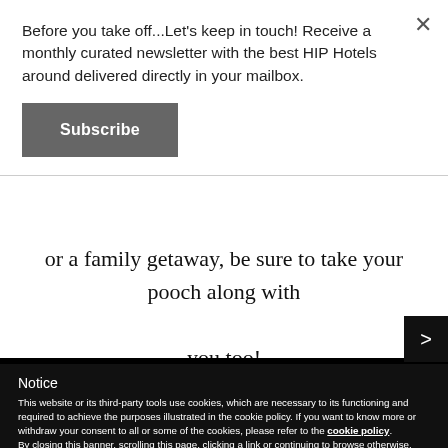Before you take off...Let's keep in touch! Receive a monthly curated newsletter with the best HIP Hotels around delivered directly in your mailbox.
Subscribe
or a family getaway, be sure to take your pooch along with you too!
Notice
This website or its third-party tools use cookies, which are necessary to its functioning and required to achieve the purposes illustrated in the cookie policy. If you want to know more or withdraw your consent to all or some of the cookies, please refer to the cookie policy. By closing this banner, scrolling this page, clicking a link or continuing to browse otherwise, you agree to the use of cookies.